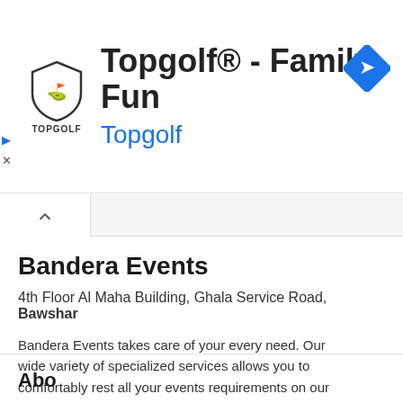[Figure (screenshot): Topgolf ad banner with shield logo, title 'Topgolf® - Family Fun', subtitle 'Topgolf' in blue, and blue diamond navigation arrow icon on right]
Bandera Events
4th Floor Al Maha Building, Ghala Service Road, Bawshar
Bandera Events takes care of your every need. Our wide variety of specialized services allows you to comfortably rest all your events requirements on our shoulders. We provide top-to-bottom services i...
✓ Verified   +9  Years with us
[Figure (infographic): Contact action buttons: Phone, E-mail, Map, Website with icons]